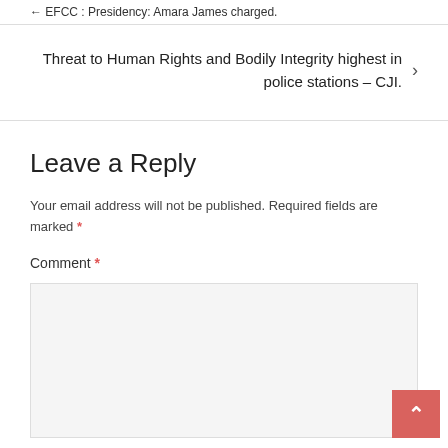← EFCC: Presidency: Amara James charged.
Threat to Human Rights and Bodily Integrity highest in police stations – CJI.
Leave a Reply
Your email address will not be published. Required fields are marked *
Comment *